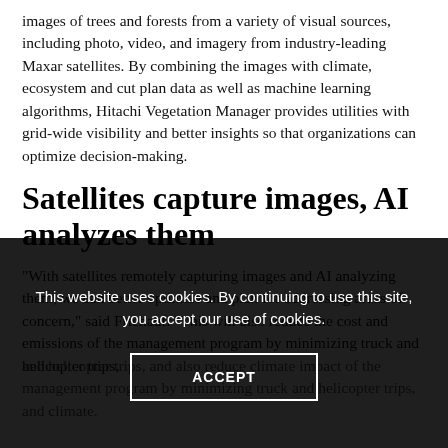images of trees and forests from a variety of visual sources, including photo, video, and imagery from industry-leading Maxar satellites. By combining the images with climate, ecosystem and cut plan data as well as machine learning algorithms, Hitachi Vegetation Manager provides utilities with grid-wide visibility and better insights so that organizations can optimize decision-making.
Satellites capture images, AI analyzes them
“With satellites remotely capturing images and AI analyzing them, we can better optimize and plan for addressing areas of concern,” said Friehauf. “This will also reduce the cost and emissions of the management program by minimizing truck and helicopter trips,
This website uses cookies. By continuing to use this site, you accept our use of cookies.
ACCEPT